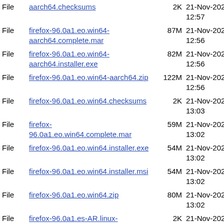| Type | Name | Size | Date |
| --- | --- | --- | --- |
| File | aarch64.checksums | 2K | 21-Nov-2021 12:57 |
| File | firefox-96.0a1.eo.win64-aarch64.complete.mar | 87M | 21-Nov-2021 12:56 |
| File | firefox-96.0a1.eo.win64-aarch64.installer.exe | 82M | 21-Nov-2021 12:56 |
| File | firefox-96.0a1.eo.win64-aarch64.zip | 122M | 21-Nov-2021 12:56 |
| File | firefox-96.0a1.eo.win64.checksums | 2K | 21-Nov-2021 13:03 |
| File | firefox-96.0a1.eo.win64.complete.mar | 59M | 21-Nov-2021 13:02 |
| File | firefox-96.0a1.eo.win64.installer.exe | 54M | 21-Nov-2021 13:02 |
| File | firefox-96.0a1.eo.win64.installer.msi | 54M | 21-Nov-2021 13:02 |
| File | firefox-96.0a1.eo.win64.zip | 80M | 21-Nov-2021 13:02 |
| File | firefox-96.0a1.es-AR.linux-i686.checksums | 2K | 21-Nov-2021 12:28 |
| File | firefox-96.0a1.es-AR.linux-i686.complete.mar | 67M | 21-Nov-2021 12:28 |
| File | firefox-96.0a1.es-AR.linux-i686.tar.bz2 | 83M | 21-Nov-2021 12:28 |